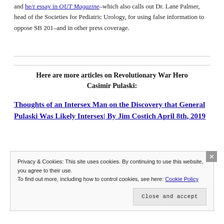were also explored in part in Viloria's interview in The Advocate and he/r essay in OUT Magazine–which also calls out Dr. Lane Palmer, head of the Societies for Pediatric Urology, for using false information to oppose SB 201–and in other press coverage.
Here are more articles on Revolutionary War Hero Casimir Pulaski:
Thoughts of an Intersex Man on the Discovery that General Pulaski Was Likely Intersex| By Jim Costich April 8th, 2019
Privacy & Cookies: This site uses cookies. By continuing to use this website, you agree to their use. To find out more, including how to control cookies, see here: Cookie Policy